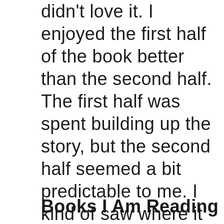didn't love it. I enjoyed the first half of the book better than the second half. The first half was spent building up the story, but the second half seemed a bit predictable to me. I kind of saw where it was going and how it would end. Overall though it was an easy read, and a good book for fans of Downton Abbey.
Books I Am Reading